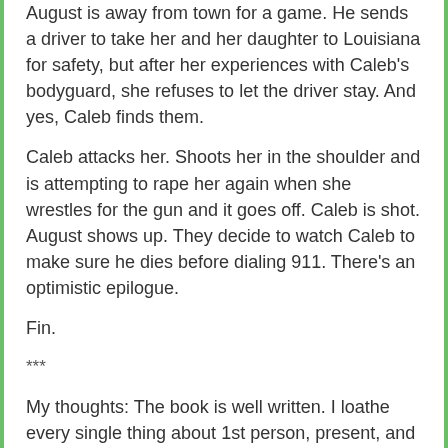August is away from town for a game. He sends a driver to take her and her daughter to Louisiana for safety, but after her experiences with Caleb's bodyguard, she refuses to let the driver stay. And yes, Caleb finds them.
Caleb attacks her. Shoots her in the shoulder and is attempting to rape her again when she wrestles for the gun and it goes off. Caleb is shot. August shows up. They decide to watch Caleb to make sure he dies before dialing 911. There's an optimistic epilogue.
Fin.
***
My thoughts: The book is well written. I loathe every single thing about 1st person, present, and I found the use of that tense for on-the-page rape highly troubling. I did NOT like how much of the story centered the abusive relationship. The domestic violence outweighed the basketball in this book. More time is spent on her rape and abuse than on the romance we're supposed to be reading for. I have a very